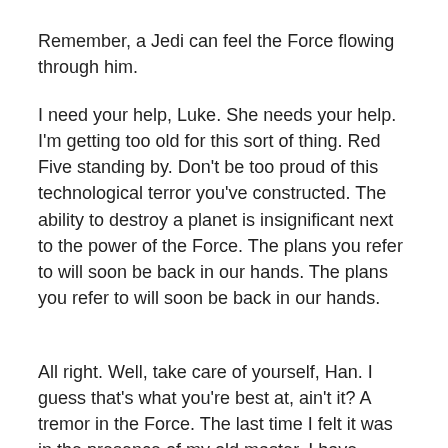Remember, a Jedi can feel the Force flowing through him.
I need your help, Luke. She needs your help. I'm getting too old for this sort of thing. Red Five standing by. Don't be too proud of this technological terror you've constructed. The ability to destroy a planet is insignificant next to the power of the Force. The plans you refer to will soon be back in our hands. The plans you refer to will soon be back in our hands.
All right. Well, take care of yourself, Han. I guess that's what you're best at, ain't it? A tremor in the Force. The last time I felt it was in the presence of my old master. I have traced the Rebel spies to her.
Remember, a Jedi can feel the Force flowing through him. I